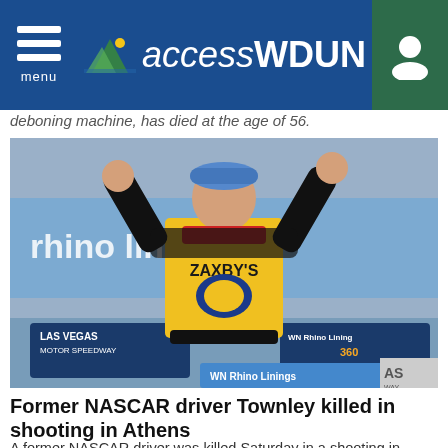menu | accessWDUN
deboning machine, has died at the age of 56.
[Figure (photo): A NASCAR driver wearing a Zaxby's racing suit celebrating with arms raised at Las Vegas Motor Speedway, with Rhino Linings 360 banner visible in the background.]
Former NASCAR driver Townley killed in shooting in Athens
A former NASCAR driver was killed Saturday in a shooting in Georgia that also wounded a woman, investigators said. John